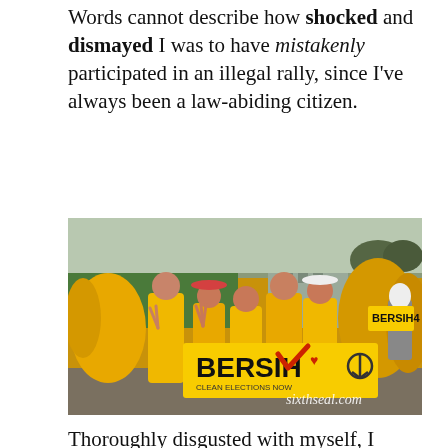Words cannot describe how shocked and dismayed I was to have mistakenly participated in an illegal rally, since I've always been a law-abiding citizen.
[Figure (photo): Group photo of people wearing yellow BERSIH t-shirts holding a yellow BERSIH banner at a rally. Watermark reads sixthseal.com.]
Thoroughly disgusted with myself, I immediately left the prohibited gathering with my Thai Patriots Network shirt. It took me 34 hours to